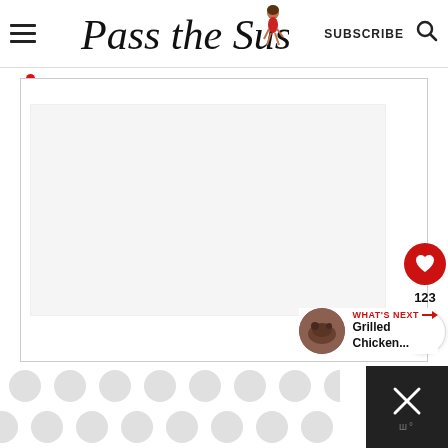Pass the Sushi - SUBSCRIBE
[Figure (screenshot): Main content area of the Pass the Sushi food blog website showing a white content region, a red heart button with count 123, a share button, and a 'What's Next' section showing Grilled Chicken...]
123
WHAT'S NEXT → Grilled Chicken...
[Figure (other): Bottom advertisement bar with polka dot pattern on white background and dark close button with X icon]